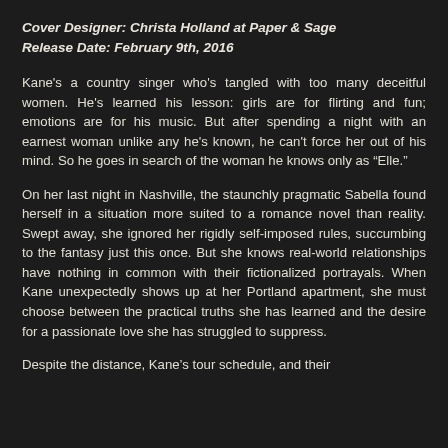Cover Designer: Christa Holland at Paper & Sage
Release Date: February 9th, 2016
Kane's a country singer who's tangled with too many deceitful women. He's learned his lesson: girls are for flirting and fun; emotions are for his music. But after spending a night with an earnest woman unlike any he's known, he can't force her out of his mind. So he goes in search of the woman he knows only as “Elle.”
On her last night in Nashville, the staunchly pragmatic Sabella found herself in a situation more suited to a romance novel than reality. Swept away, she ignored her rigidly self-imposed rules, succumbing to the fantasy just this once. But she knows real-world relationships have nothing in common with their fictionalized portrayals. When Kane unexpectedly shows up at her Portland apartment, she must choose between the practical truths she has learned and the desire for a passionate love she has struggled to suppress.
Despite the distance, Kane’s tour schedule, and their